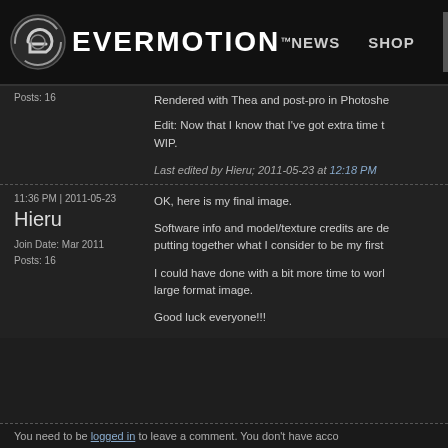EVERMOTION™  NEWS  SHOP
Posts: 16
Rendered with Thea and post-pro in Photosho
Edit: Now that I know that I've got extra time t WIP.
Last edited by Hieru; 2011-05-23 at 12:18 PM
11:36 PM | 2011-05-23
Hieru
Join Date: Mar 2011
Posts: 16
OK, here is my final image.
Software info and model/texture credits are de putting together what I consider to be my first
I could have done with a bit more time to worl large format image.
Good luck everyone!!!
You need to be logged in to leave a comment. You don't have acco